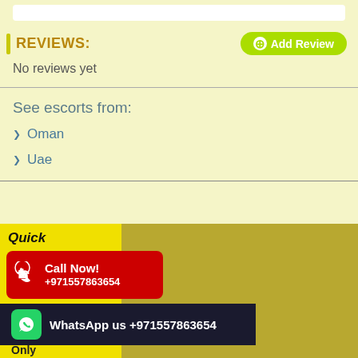REVIEWS:
No reviews yet
See escorts from:
Oman
Uae
Quick
[Figure (infographic): Call Now! banner with phone icon and number +971557863654 on red background]
[Figure (infographic): WhatsApp us +971557863654 bar on dark navy background with green WhatsApp icon]